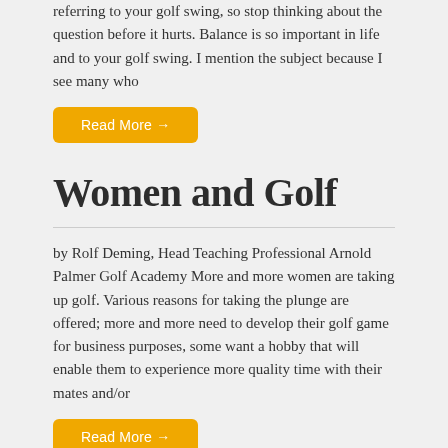referring to your golf swing, so stop thinking about the question before it hurts. Balance is so important in life and to your golf swing. I mention the subject because I see many who
Read More →
Women and Golf
by Rolf Deming, Head Teaching Professional Arnold Palmer Golf Academy More and more women are taking up golf. Various reasons for taking the plunge are offered; more and more need to develop their golf game for business purposes, some want a hobby that will enable them to experience more quality time with their mates and/or
Read More →